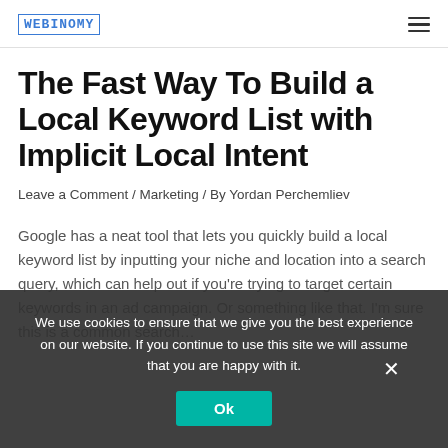WEBINOMY
The Fast Way To Build a Local Keyword List with Implicit Local Intent
Leave a Comment / Marketing / By Yordan Perchemliev
Google has a neat tool that lets you quickly build a local keyword list by inputting your niche and location into a search query, which can help out if you're trying to target certain keywords in an ad campaign. Or something like that. I'm sure this is a common search…
We use cookies to ensure that we give you the best experience on our website. If you continue to use this site we will assume that you are happy with it.